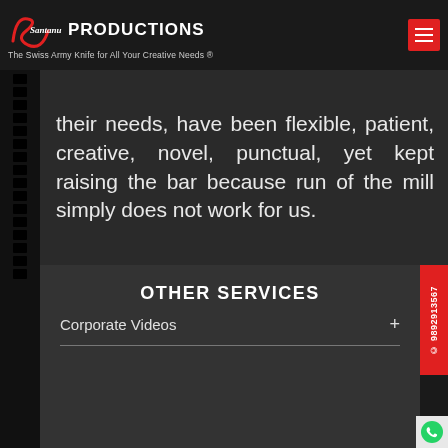[Figure (logo): Santanu Productions logo with cursive script and tagline]
their needs, have been flexible, patient, creative, novel, punctual, yet kept raising the bar because run of the mill simply does not work for us.
OTHER SERVICES
Corporate Videos +